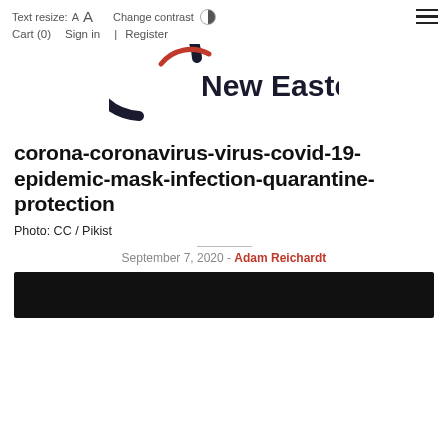Text resize: A A   Change contrast   Cart (0)   Sign in   |   Register
[Figure (logo): New Eastern Europe logo with black crescent and red arc]
corona-coronavirus-virus-covid-19-epidemic-mask-infection-quarantine-protection
Photo: CC / Pikist
September 7, 2020 - Adam Reichardt
[Figure (photo): Dark/black image at bottom of page]